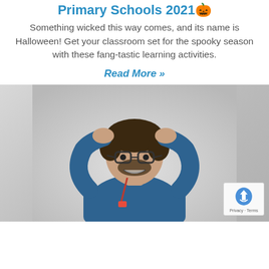Primary Schools 2021🎃
Something wicked this way comes, and its name is Halloween! Get your classroom set for the spooky season with these fang-tastic learning activities.
Read More »
[Figure (photo): A man with glasses and a blue hoodie wearing a lanyard, hands on head, grimacing/stressed expression, against a light grey background.]